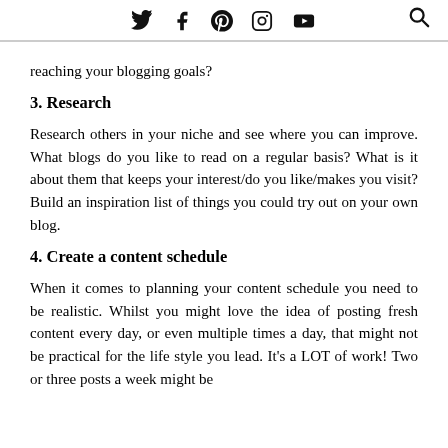Twitter Facebook Pinterest Instagram YouTube [Search]
reaching your blogging goals?
3. Research
Research others in your niche and see where you can improve. What blogs do you like to read on a regular basis? What is it about them that keeps your interest/do you like/makes you visit? Build an inspiration list of things you could try out on your own blog.
4. Create a content schedule
When it comes to planning your content schedule you need to be realistic. Whilst you might love the idea of posting fresh content every day, or even multiple times a day, that might not be practical for the life style you lead. It's a LOT of work! Two or three posts a week might be